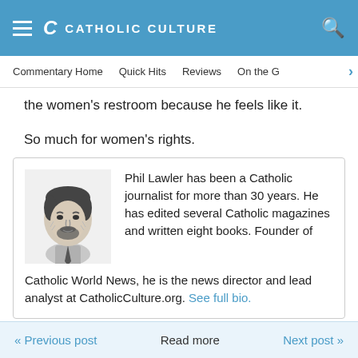CATHOLIC CULTURE
Commentary Home  Quick Hits  Reviews  On the ...
the women’s restroom because he feels like it.
So much for women’s rights.
Phil Lawler has been a Catholic journalist for more than 30 years. He has edited several Catholic magazines and written eight books. Founder of Catholic World News, he is the news director and lead analyst at CatholicCulture.org. See full bio.
« Previous post  Read more  Next post »